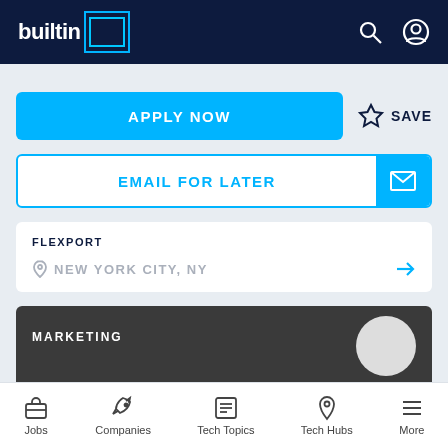[Figure (screenshot): BuiltIn website navigation bar with logo, search icon, and user profile icon on dark navy background]
APPLY NOW
SAVE
EMAIL FOR LATER
FLEXPORT
NEW YORK CITY, NY
MARKETING
Product Marketing Lead, CTV
DEEPINTENT
Jobs   Companies   Tech Topics   Tech Hubs   More